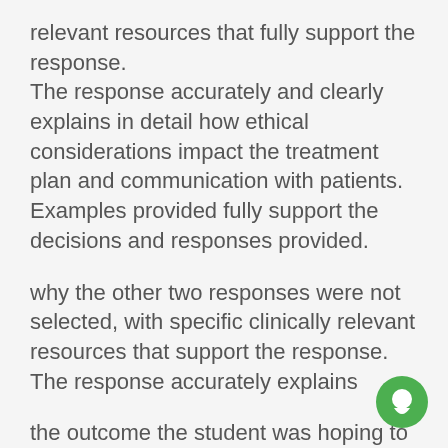relevant resources that fully support the response. The response accurately and clearly explains in detail how ethical considerations impact the treatment plan and communication with patients. Examples provided fully support the decisions and responses provided.
why the other two responses were not selected, with specific clinically relevant resources that support the response. The response accurately explains
the outcome the student was hoping to achieve with the selected decision, with specific clinically relevant resources that
[Figure (other): Green circular chat bubble icon in the bottom right corner]